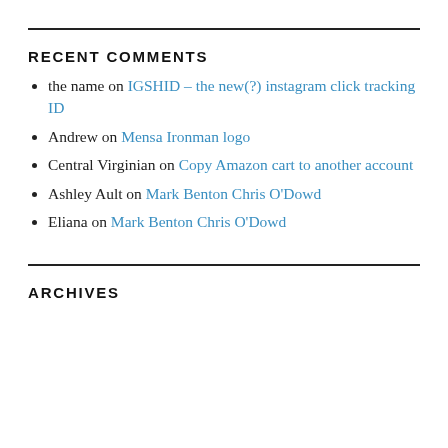RECENT COMMENTS
the name on IGSHID – the new(?) instagram click tracking ID
Andrew on Mensa Ironman logo
Central Virginian on Copy Amazon cart to another account
Ashley Ault on Mark Benton Chris O'Dowd
Eliana on Mark Benton Chris O'Dowd
ARCHIVES